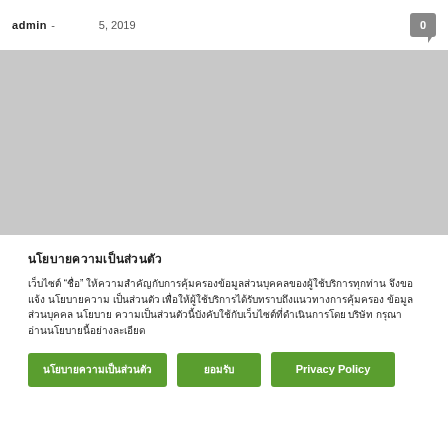admin - 5, 2019   0
[Figure (photo): Large image placeholder area with grey background]
นโยบายความเป็นส่วนตัว
เว็บไซต์ "ชื่อ" ให้ความสำคัญกับการคุ้มครองข้อมูลส่วนบุคคลของผู้ใช้บริการทุกท่าน จึงขอแจ้ง นโยบายความ เป็นส่วนตัว เพื่อให้ผู้ใช้บริการได้รับทราบถึงแนวทางการคุ้มครอง ข้อมูลส่วนบุคคล นโยบาย ความเป็นส่วนตัวนี้บังคับใช้กับเว็บไซต์ที่ดำเนินการโดย บริษัท กรุณา อ่านนโยบายนี้อย่างละเอียด
นโยบายความเป็นส่วนตัว   ยอมรับ   Privacy Policy